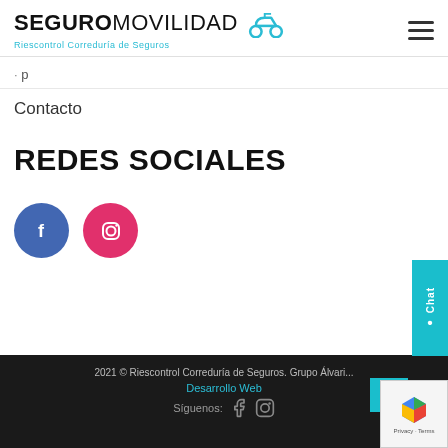[Figure (logo): SeguroMovilidad logo with scooter icon and subtitle Riescontrol Correduría de Seguros]
Contacto
REDES SOCIALES
[Figure (illustration): Social media icons: Facebook (blue circle with f) and Instagram (pink circle with camera icon)]
2021 © Riescontrol Correduría de Seguros. Grupo Álvar… Desarrollo Web Síguenos: